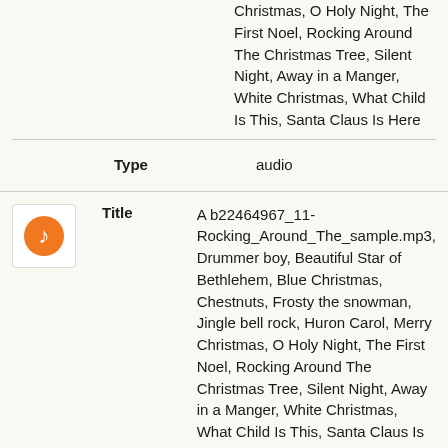Christmas, O Holy Night, The First Noel, Rocking Around The Christmas Tree, Silent Night, Away in a Manger, White Christmas, What Child Is This, Santa Claus Is Here
| Field | Value |
| --- | --- |
| Type | audio |
[Figure (illustration): Orange music note icon on white rounded square background]
| Field | Value |
| --- | --- |
| Title | A b22464967_11-Rocking_Around_The_sample.mp3, Drummer boy, Beautiful Star of Bethlehem, Blue Christmas, Chestnuts, Frosty the snowman, Jingle bell rock, Huron Carol, Merry Christmas, O Holy Night, The First Noel, Rocking Around The Christmas Tree, Silent Night, Away in a Manger, White Christmas, What Child Is This, Santa Claus Is Here |
| Type | audio |